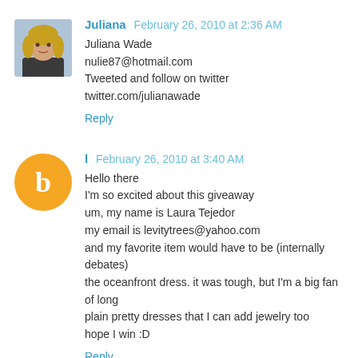Juliana  February 26, 2010 at 2:36 AM
Juliana Wade
nulie87@hotmail.com
Tweeted and follow on twitter
twitter.com/julianawade
Reply
l  February 26, 2010 at 3:40 AM
Hello there
I'm so excited about this giveaway
um, my name is Laura Tejedor
my email is levitytrees@yahoo.com
and my favorite item would have to be (internally debates)
the oceanfront dress. it was tough, but I'm a big fan of long
plain pretty dresses that I can add jewelry too
hope I win :D
Reply